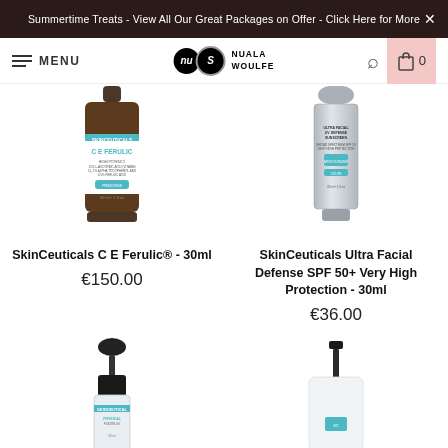Summertime Treats - View All Our Great Packages on Offer - Click Here for More ×
[Figure (screenshot): Navigation bar with hamburger menu, MENU text, Nuala Woulfe logo (two overlapping circles with NU and S initials), search icon, and shopping bag icon with 0 items on pink background]
[Figure (photo): SkinCeuticals C E Ferulic serum product - brown glass bottle with dropper, teal and white label]
SkinCeuticals C E Ferulic® - 30ml
€150.00
[Figure (photo): SkinCeuticals Ultra Facial Defense SPF 50+ sunscreen product - silver/grey tube]
SkinCeuticals Ultra Facial Defense SPF 50+ Very High Protection - 30ml
€36.00
[Figure (photo): SkinCeuticals serum product in small clear glass bottle with black dropper cap, partially visible at bottom of page]
[Figure (photo): White pump bottle product with black pump top, partially visible at bottom of page]